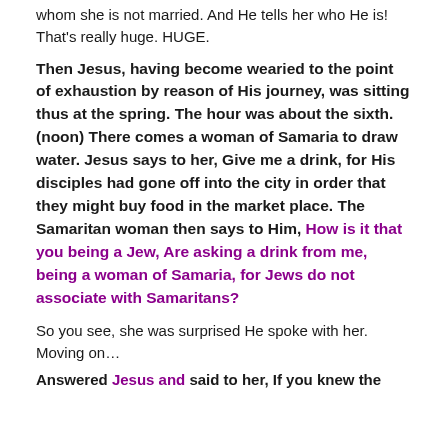whom she is not married.  And He tells her who He is!  That's really huge.  HUGE.
Then Jesus, having become wearied to the point of exhaustion by reason of His journey, was sitting thus at the spring.  The hour was about the sixth. (noon) There comes a woman of Samaria to draw water.  Jesus says to her, Give me a drink, for His disciples had gone off into the city in order that they might buy food in the market place.  The Samaritan woman then says to Him, How is it that you being a Jew, Are asking a drink from me, being a woman of Samaria, for Jews do not associate with Samaritans?
So you see, she was surprised He spoke with her.  Moving on…
Answered Jesus and said to her, If you knew the